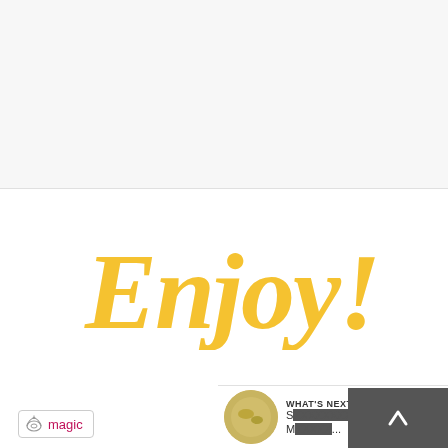[Figure (photo): Light gray background image area at the top of the page, representing a food photo placeholder]
Enjoy!
[Figure (illustration): Heart icon button (dark navy blue circle with white heart) showing likes, with count of 2 below it, and a share button below that]
[Figure (logo): Magic badge/logo with a chef hat icon and the text 'magic' in dark pink/magenta color, outlined with a light gray border]
[Figure (screenshot): What's Next navigation bar at the bottom right showing a circular food thumbnail, the label WHAT'S NEXT with an arrow, partially visible title text, and a dark gray overlay with an upward chevron arrow]